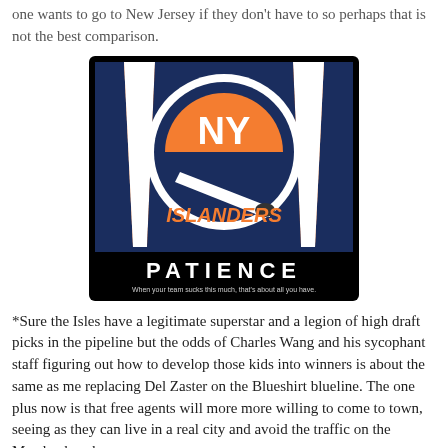one wants to go to New Jersey if they don't have to so perhaps that is not the best comparison.
[Figure (photo): Motivational poster featuring the New York Islanders logo with text 'PATIENCE' and subtitle 'When your team sucks this much, that's about all you have.']
*Sure the Isles have a legitimate superstar and a legion of high draft picks in the pipeline but the odds of Charles Wang and his sycophant staff figuring out how to develop those kids into winners is about the same as me replacing Del Zaster on the Blueshirt blueline. The one plus now is that free agents will more more willing to come to town, seeing as they can live in a real city and avoid the traffic on the Meadowbrook.